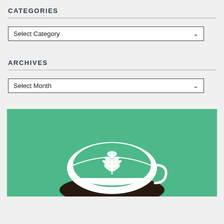CATEGORIES
[Figure (screenshot): A dropdown selector widget labeled 'Select Category']
ARCHIVES
[Figure (screenshot): A dropdown selector widget labeled 'Select Month']
[Figure (illustration): An illustration of a coffee cup with latte art on a teal/green background, with dark saucer, the cup has white leaf/fern latte art pattern on the green surface]